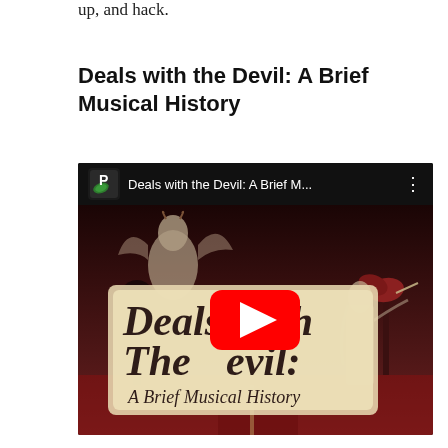up, and hack.
Deals with the Devil: A Brief Musical History
[Figure (screenshot): YouTube video embed thumbnail for 'Deals with the Devil: A Brief Musical History'. Shows a dark illustrated image with a devil figure and a man playing violin, with large stylized text reading 'Deals With The Devil: A Brief Musical History'. A red YouTube play button is centered over the image. The top bar shows the Patreon/publisher logo, video title truncated as 'Deals with the Devil: A Brief M...', and a three-dot menu icon.]